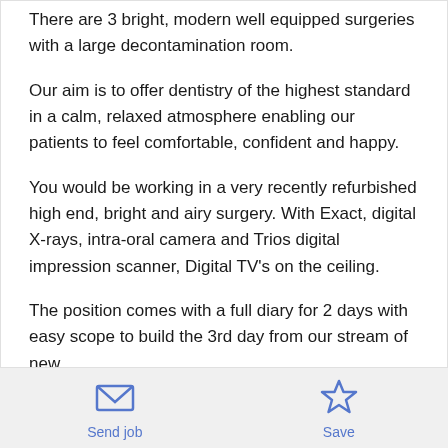There are 3 bright, modern well equipped surgeries with a large decontamination room.
Our aim is to offer dentistry of the highest standard in a calm, relaxed atmosphere enabling our patients to feel comfortable, confident and happy.
You would be working in a very recently refurbished high end, bright and airy surgery. With Exact, digital X-rays, intra-oral camera and Trios digital impression scanner, Digital TV's on the ceiling.
The position comes with a full diary for 2 days with easy scope to build the 3rd day from our stream of new
Send job   Save